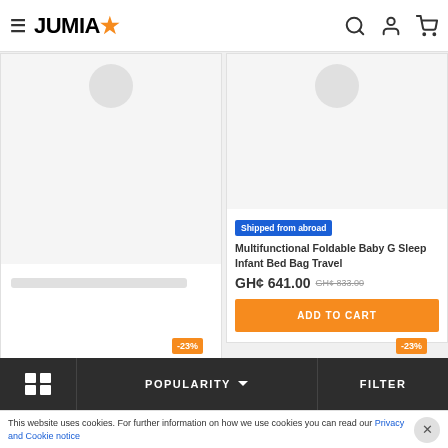JUMIA
[Figure (screenshot): Left product card with gray placeholder image and loading bar]
[Figure (screenshot): Right product card showing Multifunctional Foldable Baby G Sleep Infant Bed Bag Travel]
Shipped from abroad
Multifunctional Foldable Baby G Sleep Infant Bed Bag Travel
GH¢ 641.00 GH¢ 833.00
ADD TO CART
-23%
-23%
POPULARITY
FILTER
This website uses cookies. For further information on how we use cookies you can read our Privacy and Cookie notice